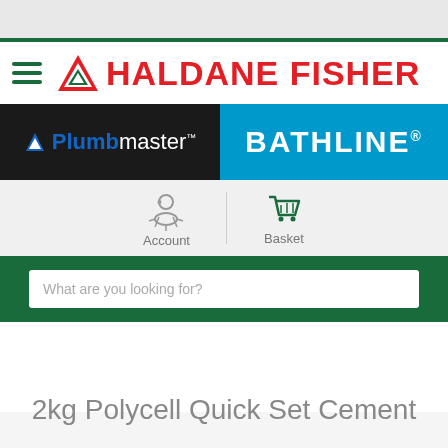[Figure (screenshot): Haldane Fisher website header with Plumbmaster and Bathline brand sections, Account and Basket navigation, search bar, and product title '2kg Polycell Quick Set Cement']
2kg Polycell Quick Set Cement